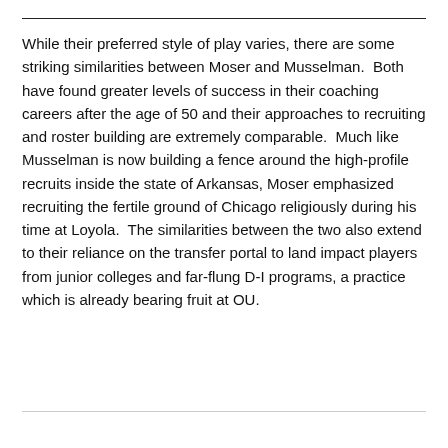While their preferred style of play varies, there are some striking similarities between Moser and Musselman.  Both have found greater levels of success in their coaching careers after the age of 50 and their approaches to recruiting and roster building are extremely comparable.  Much like Musselman is now building a fence around the high-profile recruits inside the state of Arkansas, Moser emphasized recruiting the fertile ground of Chicago religiously during his time at Loyola.  The similarities between the two also extend to their reliance on the transfer portal to land impact players from junior colleges and far-flung D-I programs, a practice which is already bearing fruit at OU.